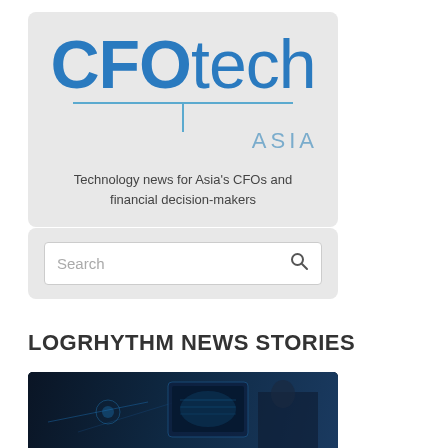[Figure (logo): CFOtech ASIA logo on grey background with tagline 'Technology news for Asia's CFOs and financial decision-makers']
[Figure (screenshot): Search bar widget on grey background with placeholder text 'Search' and magnifying glass icon]
LOGRHYTHM NEWS STORIES
[Figure (photo): Dark blue technology photo showing a person using a glowing tablet with digital graphics, partially visible at bottom of page]